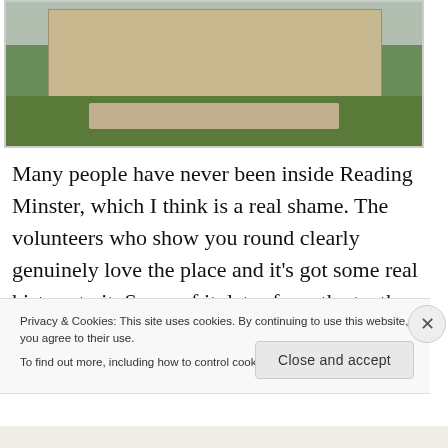[Figure (photo): Outdoor photograph of Reading Minster church building with checkered stone facade, green lawn, pathways, and people walking including someone with a pushchair/stroller.]
Many people have never been inside Reading Minster, which I think is a real shame. The volunteers who show you round clearly genuinely love the place and it's got some real history to it. Some of it dates from the tenth century and when Reading
Privacy & Cookies: This site uses cookies. By continuing to use this website, you agree to their use.
To find out more, including how to control cookies, see here: Cookie Policy
Close and accept